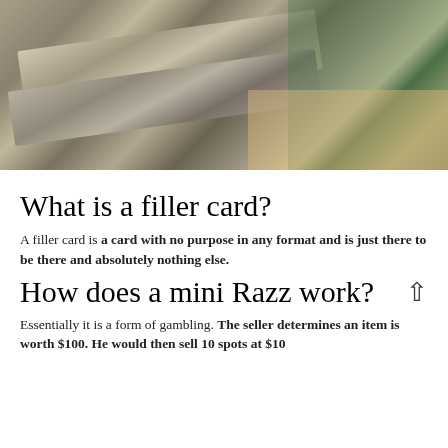[Figure (photo): Close-up photo of metallic bars or ingots at an angle, with a green-tinted background and tan surface visible.]
What is a filler card?
A filler card is a card with no purpose in any format and is just there to be there and absolutely nothing else.
How does a mini Razz work?
Essentially it is a form of gambling. The seller determines an item is worth $100. He would then sell 10 spots at $10